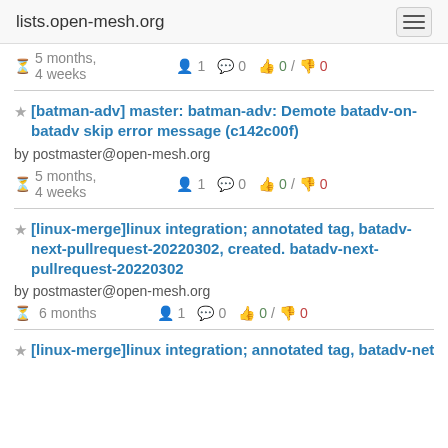lists.open-mesh.org
⏱ 5 months, 4 weeks   👤 1   💬 0   👍 0 / 👎 0
[batman-adv] master: batman-adv: Demote batadv-on-batadv skip error message (c142c00f)
by postmaster@open-mesh.org
⏱ 5 months, 4 weeks   👤 1   💬 0   👍 0 / 👎 0
[linux-merge]linux integration; annotated tag, batadv-next-pullrequest-20220302, created. batadv-next-pullrequest-20220302
by postmaster@open-mesh.org
⏱ 6 months   👤 1   💬 0   👍 0 / 👎 0
[linux-merge]linux integration; annotated tag, batadv-net-